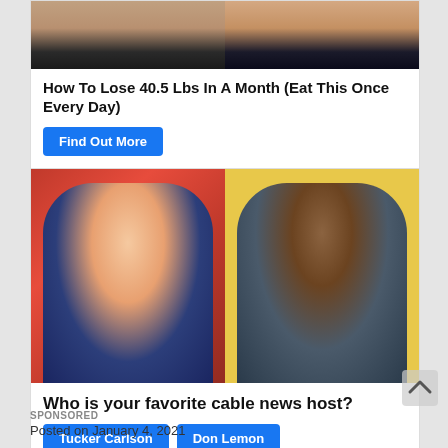[Figure (photo): Advertisement image showing two cropped torso/midsection photos side by side, one on left and one on right, both showing slim waistlines against dark clothing]
How To Lose 40.5 Lbs In A Month (Eat This Once Every Day)
Find Out More
[Figure (photo): Two cable news hosts shown side by side: Tucker Carlson laughing against red background on left, Don Lemon making a face with tongue out against yellow background on right]
Who is your favorite cable news host?
Tucker Carlson
Don Lemon
Rachel Maddow
SPONSORED
Posted on January 4, 2021